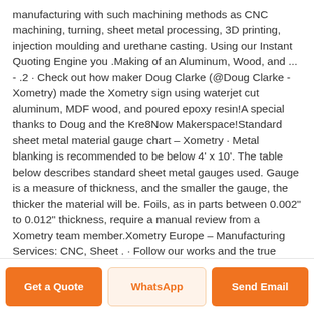manufacturing with such machining methods as CNC machining, turning, sheet metal processing, 3D printing, injection moulding and urethane casting. Using our Instant Quoting Engine you .Making of an Aluminum, Wood, and ... - .2 · Check out how maker Doug Clarke (@Doug Clarke - Xometry) made the Xometry sign using waterjet cut aluminum, MDF wood, and poured epoxy resin!A special thanks to Doug and the Kre8Now Makerspace!Standard sheet metal material gauge chart – Xometry · Metal blanking is recommended to be below 4' x 10'. The table below describes standard sheet metal gauges used. Gauge is a measure of thickness, and the smaller the gauge, the thicker the material will be. Foils, as in parts between 0.002" to 0.012" thickness, require a manual review from a Xometry team member.Xometry Europe – Manufacturing Services: CNC, Sheet . · Follow our works and the true beauty of metal machining! xometryeurope. Xometry is the world's
Get a Quote
WhatsApp
Send Email